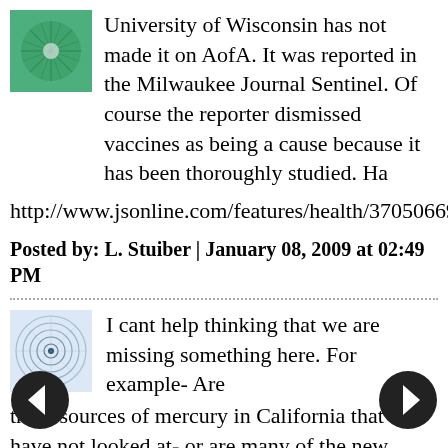University of Wisconsin has not made it on AofA. It was reported in the Milwaukee Journal Sentinel. Of course the reporter dismissed vaccines as being a cause because it has been thoroughly studied. Ha
http://www.jsonline.com/features/health/37050669.html
Posted by: L. Stuiber | January 08, 2009 at 02:49 PM
I cant help thinking that we are missing something here. For example- Are there sources of mercury in California that we have not looked at- or are many of the new cases found in kids who live near power plants or forest fires or crematoriums? Can anyone